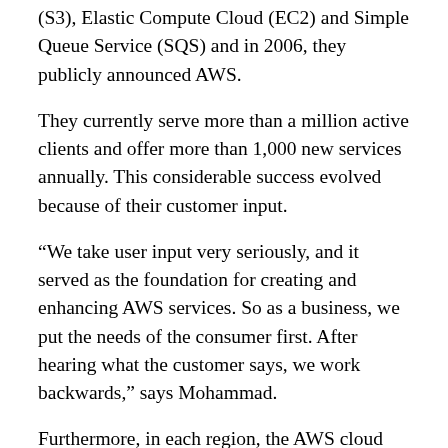(S3), Elastic Compute Cloud (EC2) and Simple Queue Service (SQS) and in 2006, they publicly announced AWS.
They currently serve more than a million active clients and offer more than 1,000 new services annually. This considerable success evolved because of their customer input.
“We take user input very seriously, and it served as the foundation for creating and enhancing AWS services. So as a business, we put the needs of the consumer first. After hearing what the customer says, we work backwards,” says Mohammad.
Furthermore, in each region, the AWS cloud infrastructure has multiple Availability Zones (AZ), and each AZ has multiple, physically